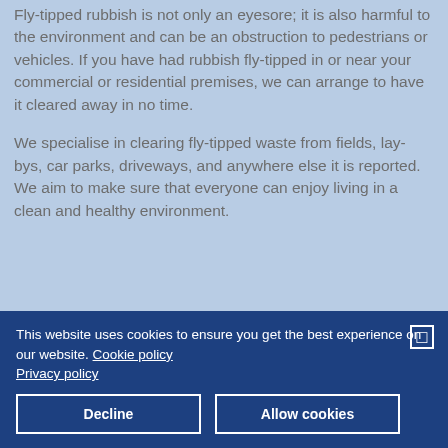Fly-tipped rubbish is not only an eyesore; it is also harmful to the environment and can be an obstruction to pedestrians or vehicles. If you have had rubbish fly-tipped in or near your commercial or residential premises, we can arrange to have it cleared away in no time.
We specialise in clearing fly-tipped waste from fields, lay-bys, car parks, driveways, and anywhere else it is reported. We aim to make sure that everyone can enjoy living in a clean and healthy environment.
This website uses cookies to ensure you get the best experience on our website. Cookie policy Privacy policy